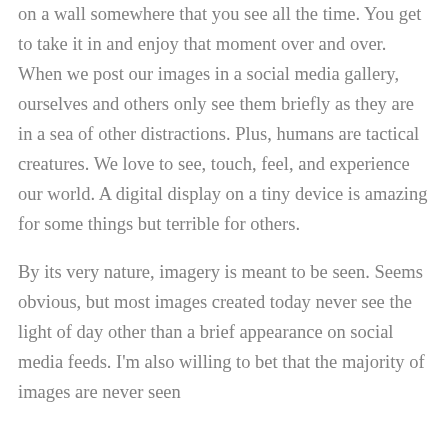on a wall somewhere that you see all the time. You get to take it in and enjoy that moment over and over. When we post our images in a social media gallery, ourselves and others only see them briefly as they are in a sea of other distractions. Plus, humans are tactical creatures. We love to see, touch, feel, and experience our world. A digital display on a tiny device is amazing for some things but terrible for others.
By its very nature, imagery is meant to be seen. Seems obvious, but most images created today never see the light of day other than a brief appearance on social media feeds. I'm also willing to bet that the majority of images are never seen